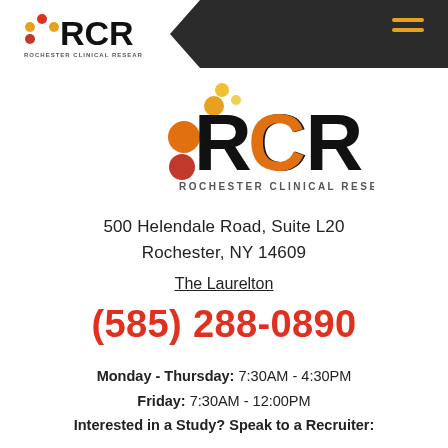RCR Rochester Clinical Research
[Figure (logo): RCR Rochester Clinical Research logo with colored dot decorations in orange, red, and yellow]
500 Helendale Road, Suite L20
Rochester, NY 14609
The Laurelton
(585) 288-0890
Monday - Thursday: 7:30AM - 4:30PM
Friday: 7:30AM - 12:00PM
Interested in a Study? Speak to a Recruiter: